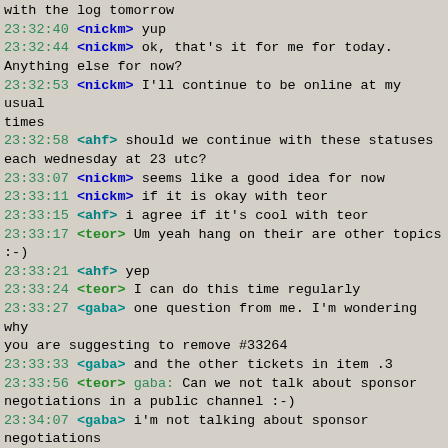with the log tomorrow
23:32:40 <nickm> yup
23:32:44 <nickm> ok, that's it for me for today. Anything else for now?
23:32:53 <nickm> I'll continue to be online at my usual times
23:32:58 <ahf> should we continue with these statuses each wednesday at 23 utc?
23:33:07 <nickm> seems like a good idea for now
23:33:11 <nickm> if it is okay with teor
23:33:15 <ahf> i agree if it's cool with teor
23:33:17 <teor> Um yeah hang on their are other topics :-)
23:33:21 <ahf> yep
23:33:24 <teor> I can do this time regularly
23:33:27 <gaba> one question from me. I'm wondering why you are suggesting to remove #33264
23:33:33 <gaba> and the other tickets in item .3
23:33:56 <teor> gaba: Can we not talk about sponsor negotiations in a public channel :-)
23:34:07 <gaba> i'm not talking about sponsor negotiations
23:34:09 <teor> Or do you think it's ok?
23:34:26 <gaba> i'm talking about if those tickets are not necessary in this project or not
23:35:27 <gaba> You could reply in the mail if you do not feel comfortable talking about it here
23:35:36 <teor> As part of the proposal, we promised the sponsor we would deliver this objective:
23:35:37 <teor> O1.5 - Measure the number of connections, and consumed bandwidth, using IPv4 and